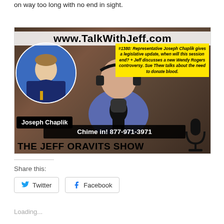on way too long with no end in sight.
[Figure (screenshot): Podcast episode thumbnail for The Jeff Oravits Show episode #1380 featuring Representative Joseph Chaplik. Shows website URL www.TalkWithJeff.com at top, a yellow episode description box, a circular photo of Joseph Chaplik, a background photo of the host at a microphone, a name badge reading 'Joseph Chaplik', a 'Chime in! 877-971-3971' bar, a microphone icon, and 'THE JEFF ORAVITS SHOW' title at bottom.]
Share this:
Twitter
Facebook
Loading...